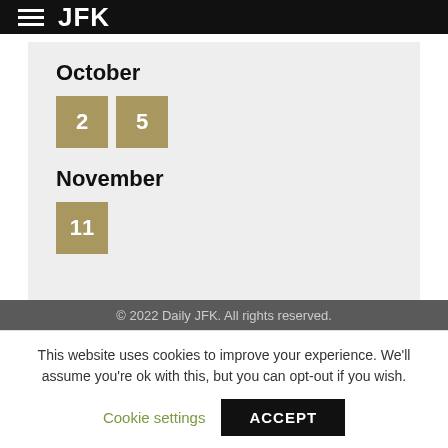JFK
October
2  5
November
11
© 2022 Daily JFK. All rights reserved.
This website uses cookies to improve your experience. We'll assume you're ok with this, but you can opt-out if you wish.
Cookie settings  ACCEPT